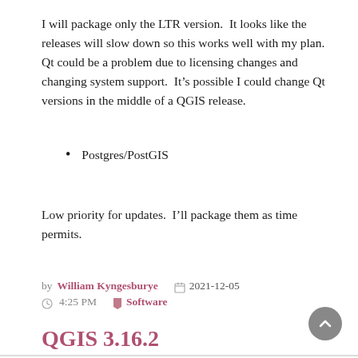I will package only the LTR version.  It looks like the releases will slow down so this works well with my plan.  Qt could be a problem due to licensing changes and changing system support.  It’s possible I could change Qt versions in the middle of a QGIS release.
Postgres/PostGIS
Low priority for updates.  I’ll package them as time permits.
by William Kyngesburye   📅 2021-12-05
⏰ 4:25 PM   🔖 Software
QGIS 3.16.2